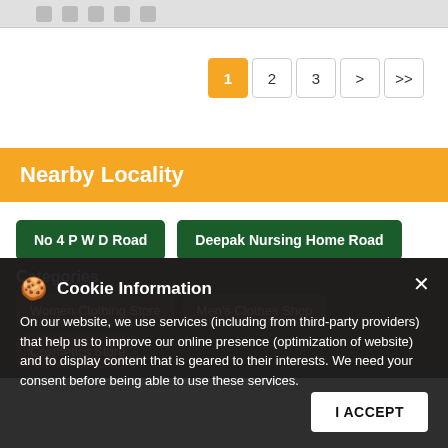[Figure (screenshot): Top gray navigation bar with social media icons]
Pagination: 1 (active), 2, 3, >, >>
Nearby Locality
No 4 P W D Road
Deepak Nursing Home Road
Categories
Women Clothing Store
Men's Clothes Shop
Cosmetics Store
Cookie Information
On our website, we use services (including from third-party providers) that help us to improve our online presence (optimization of website) and to display content that is geared to their interests. We need your consent before being able to use these services.
I ACCEPT